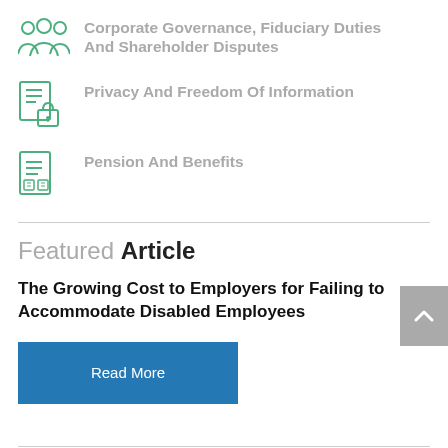Corporate Governance, Fiduciary Duties And Shareholder Disputes
Privacy And Freedom Of Information
Pension And Benefits
Featured Article
The Growing Cost to Employers for Failing to Accommodate Disabled Employees
Read More